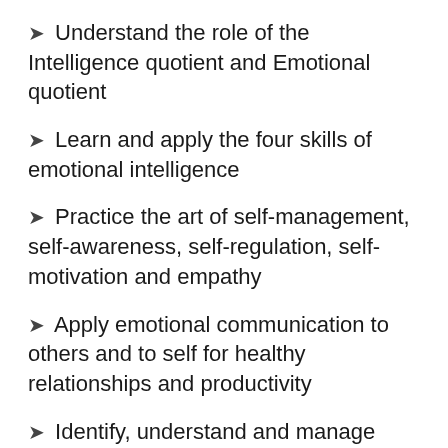➤ Understand the role of the Intelligence quotient and Emotional quotient
➤ Learn and apply the four skills of emotional intelligence
➤ Practice the art of self-management, self-awareness, self-regulation, self-motivation and empathy
➤ Apply emotional communication to others and to self for healthy relationships and productivity
➤ Identify, understand and manage self-emotions in complex situations